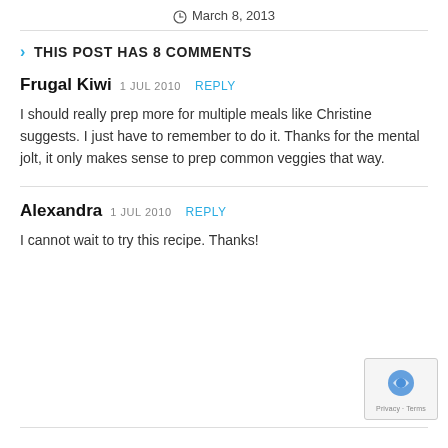March 8, 2013
THIS POST HAS 8 COMMENTS
Frugal Kiwi  1 JUL 2010  REPLY
I should really prep more for multiple meals like Christine suggests. I just have to remember to do it. Thanks for the mental jolt, it only makes sense to prep common veggies that way.
Alexandra  1 JUL 2010  REPLY
I cannot wait to try this recipe. Thanks!